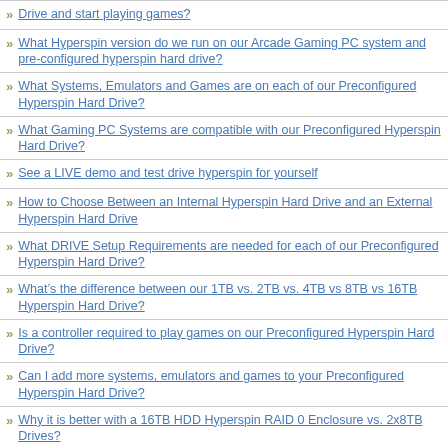Drive and start playing games?
What Hyperspin version do we run on our Arcade Gaming PC system and pre-configured hyperspin hard drive?
What Systems, Emulators and Games are on each of our Preconfigured Hyperspin Hard Drive?
What Gaming PC Systems are compatible with our Preconfigured Hyperspin Hard Drive?
See a LIVE demo and test drive hyperspin for yourself
How to Choose Between an Internal Hyperspin Hard Drive and an External Hyperspin Hard Drive
What DRIVE Setup Requirements are needed for each of our Preconfigured Hyperspin Hard Drive?
What’s the difference between our 1TB vs. 2TB vs. 4TB vs 8TB vs 16TB Hyperspin Hard Drive?
Is a controller required to play games on our Preconfigured Hyperspin Hard Drive?
Can I add more systems, emulators and games to your Preconfigured Hyperspin Hard Drive?
Why it is better with a 16TB HDD Hyperspin RAID 0 Enclosure vs. 2x8TB Drives?
Can I start with a smaller Hyperspin drive today and upgrade to a bigger Hyperspin drive later?